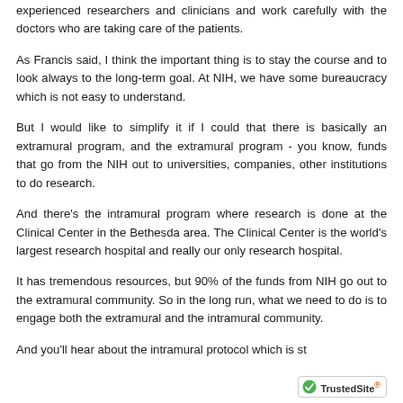experienced researchers and clinicians and work carefully with the doctors who are taking care of the patients.
As Francis said, I think the important thing is to stay the course and to look always to the long-term goal. At NIH, we have some bureaucracy which is not easy to understand.
But I would like to simplify it if I could that there is basically an extramural program, and the extramural program - you know, funds that go from the NIH out to universities, companies, other institutions to do research.
And there's the intramural program where research is done at the Clinical Center in the Bethesda area. The Clinical Center is the world's largest research hospital and really our only research hospital.
It has tremendous resources, but 90% of the funds from NIH go out to the extramural community. So in the long run, what we need to do is to engage both the extramural and the intramural community.
And you'll hear about the intramural protocol which is st...